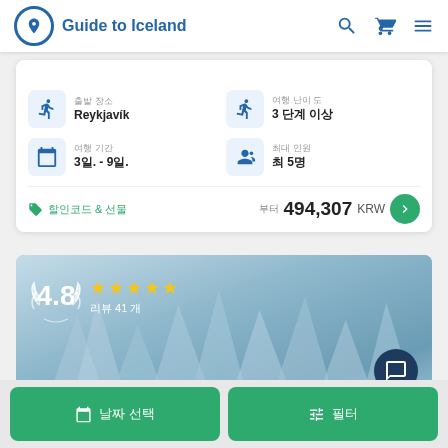Guide to Iceland
출발 장소 Reykjavik
여행 난이 도 3 단계 이상
여행 기간 3일. - 9일.
최대 인원 최 5명
할인코드 & 선물 | 부터 494,307 KRW
[Figure (photo): Glacier ice formations background image with 4.8 rating badge and 41 reviews]
날짜 선택 | 필터